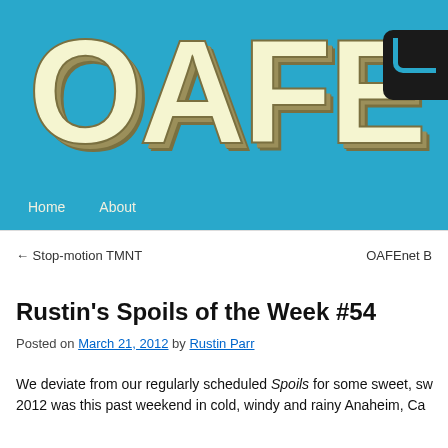[Figure (logo): OAFE website logo — large bold letters 'OAFE' in cream/off-white color with dark olive/tan shadow and drop shadow effect, on a bright blue (#29a8cb) background. A dark rounded rectangle Twitter icon appears partially visible at the top right corner.]
Home   About
← Stop-motion TMNT    OAFEnet B
Rustin's Spoils of the Week #54
Posted on March 21, 2012 by Rustin Parr
We deviate from our regularly scheduled Spoils for some sweet, sw 2012 was this past weekend in cold, windy and rainy Anaheim, Ca